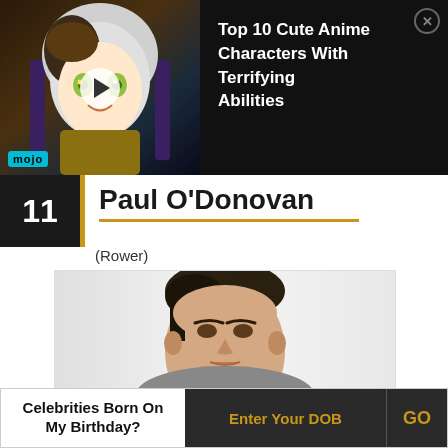[Figure (screenshot): Ad banner for WatchMojo video: Top 10 Cute Anime Characters With Terrifying Abilities, showing anime character thumbnail with play button and mojo logo]
Top 10 Cute Anime Characters With Terrifying Abilities
11  Paul O'Donovan
(Rower)
[Figure (photo): Close-up photo of Paul O'Donovan, a young man with short dark hair]
Celebrities Born On My Birthday?  Enter Your DOB  GO